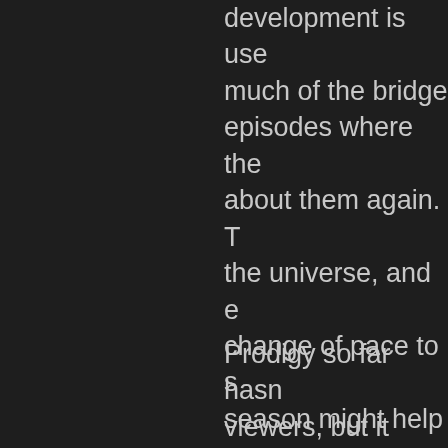development is use much of the bridge episodes where the about them again. T the universe, and e change of pace to s season might help g interesting.
Prodigy so far hasn viewers, but it seem and themes without way to introduce my Kirk/Riker/Bashir/et having "the talk" ove